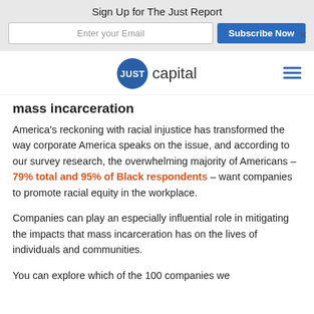Sign Up for The Just Report
mass incarceration
America's reckoning with racial injustice has transformed the way corporate America speaks on the issue, and according to our survey research, the overwhelming majority of Americans – 79% total and 95% of Black respondents – want companies to promote racial equity in the workplace.
Companies can play an especially influential role in mitigating the impacts that mass incarceration has on the lives of individuals and communities.
You can explore which of the 100 companies we